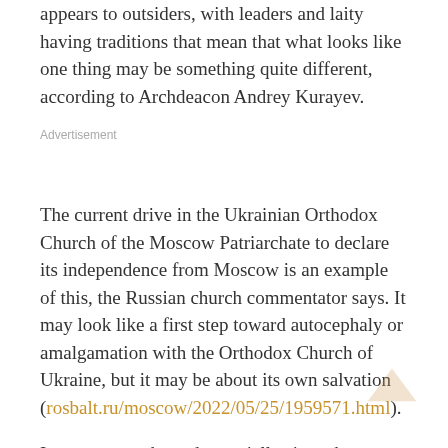appears to outsiders, with leaders and laity having traditions that mean that what looks like one thing may be something quite different, according to Archdeacon Andrey Kurayev.
Advertisement
The current drive in the Ukrainian Orthodox Church of the Moscow Patriarchate to declare its independence from Moscow is an example of this, the Russian church commentator says. It may look like a first step toward autocephaly or amalgamation with the Orthodox Church of Ukraine, but it may be about its own salvation (rosbalt.ru/moscow/2022/05/25/1959571.html).
In recent months and especially since the Russian invasion began, the UOC MP has been losing several congregations a week and thus is at risk in